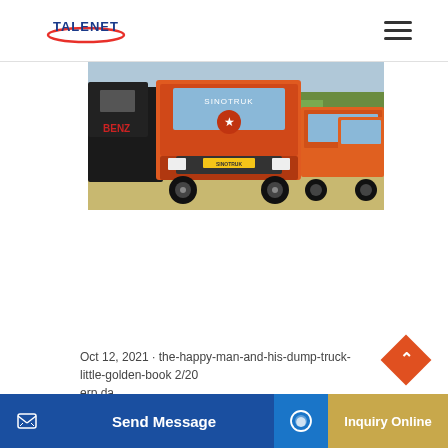TALENET
[Figure (photo): A fleet of orange/red dump trucks (SINOTRUK brand) parked in a lot, with the lead truck facing forward and trees visible in the background.]
Oct 12, 2021 · the-happy-man-and-his-dump-truck-little-golden-book 2/20
erp.da...
October 12, 2021 by guest he takes them
Send Message | Inquiry Online